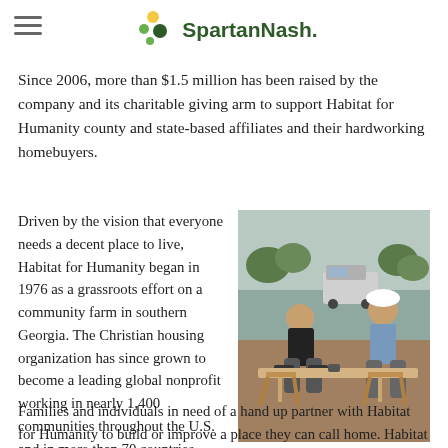SpartanNash
Since 2006, more than $1.5 million has been raised by the company and its charitable giving arm to support Habitat for Humanity county and state-based affiliates and their hardworking homebuyers.
Driven by the vision that everyone needs a decent place to live, Habitat for Humanity began in 1976 as a grassroots effort on a community farm in southern Georgia. The Christian housing organization has since grown to become a leading global nonprofit working in nearly 1,400 communities throughout the U.S. and in more than 70 countries.
[Figure (photo): Two workers in hard hats working with lumber at a Habitat for Humanity construction site outdoors]
Families and individuals in need of a hand up partner with Habitat for Humanity to build or improve a place they can call home. Habitat homeowners help build their own homes